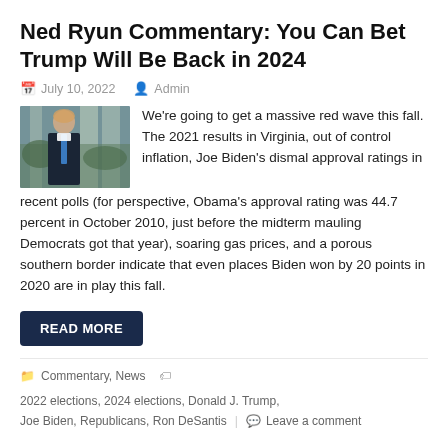Ned Ryun Commentary: You Can Bet Trump Will Be Back in 2024
July 10, 2022   Admin
[Figure (photo): Photo of a man in a dark suit with a blue tie walking outside near white columns and green foliage]
We're going to get a massive red wave this fall. The 2021 results in Virginia, out of control inflation, Joe Biden's dismal approval ratings in recent polls (for perspective, Obama's approval rating was 44.7 percent in October 2010, just before the midterm mauling Democrats got that year), soaring gas prices, and a porous southern border indicate that even places Biden won by 20 points in 2020 are in play this fall.
READ MORE
Commentary, News   2022 elections, 2024 elections, Donald J. Trump, Joe Biden, Republicans, Ron DeSantis   Leave a comment